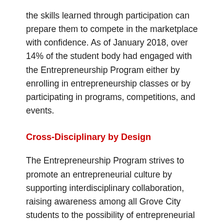the skills learned through participation can prepare them to compete in the marketplace with confidence. As of January 2018, over 14% of the student body had engaged with the Entrepreneurship Program either by enrolling in entrepreneurship classes or by participating in programs, competitions, and events.
Cross-Disciplinary by Design
The Entrepreneurship Program strives to promote an entrepreneurial culture by supporting interdisciplinary collaboration, raising awareness among all Grove City students to the possibility of entrepreneurial activity within their chosen career path. In addition, cross-disciplinary activities teach